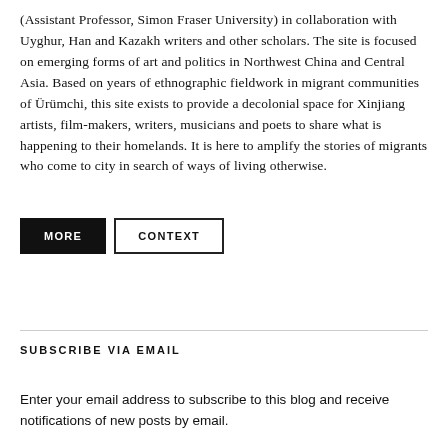(Assistant Professor, Simon Fraser University) in collaboration with Uyghur, Han and Kazakh writers and other scholars. The site is focused on emerging forms of art and politics in Northwest China and Central Asia. Based on years of ethnographic fieldwork in migrant communities of Ürümchi, this site exists to provide a decolonial space for Xinjiang artists, film-makers, writers, musicians and poets to share what is happening to their homelands. It is here to amplify the stories of migrants who come to city in search of ways of living otherwise.
MORE
CONTEXT
SUBSCRIBE VIA EMAIL
Enter your email address to subscribe to this blog and receive notifications of new posts by email.